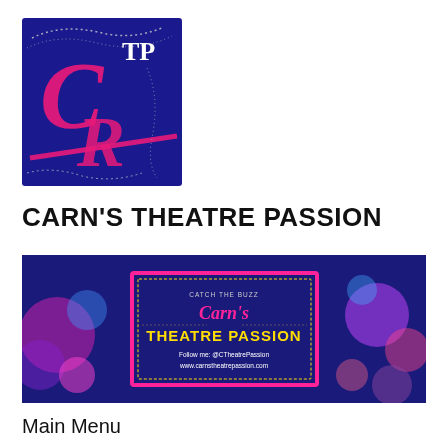[Figure (logo): CTP Carn's Theatre Passion logo — dark blue/navy background with pink cursive 'C' and 'R' letters, 'TP' in white serif font, dotted pearl/chain decorative element]
CARN'S THEATRE PASSION
[Figure (photo): Banner image with dark blue background, colorful bokeh circles in pink, magenta, blue and teal. Center shows a pink-bordered card reading 'CATCH THE BUZZ Carn's THEATRE PASSION Follow me: @CTheatrePassion www.carnstheatrepassion.com']
Main Menu